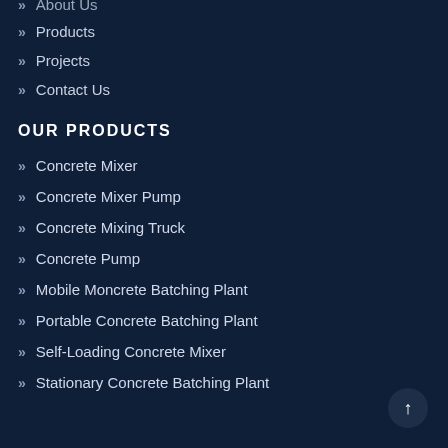About Us
Products
Projects
Contact Us
OUR PRODUCTS
Concrete Mixer
Concrete Mixer Pump
Concrete Mixing Truck
Concrete Pump
Mobile Moncrete Batching Plant
Portable Concrete Batching Plant
Self-Loading Concrete Mixer
Stationary Concrete Batching Plant